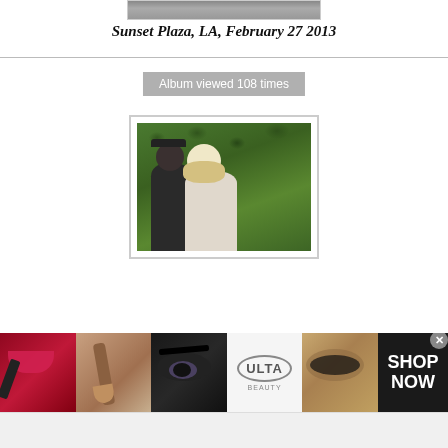[Figure (photo): Partial top photo of a car/vehicle, cropped at top of page]
Sunset Plaza, LA, February 27 2013
Album viewed 108 times
[Figure (photo): Two people walking in front of green hedge — a man in dark hoodie and cap, and a blonde woman in sunglasses]
[Figure (photo): ULTA Beauty advertisement banner with makeup imagery (lips, brush, eyes) and SHOP NOW call to action]